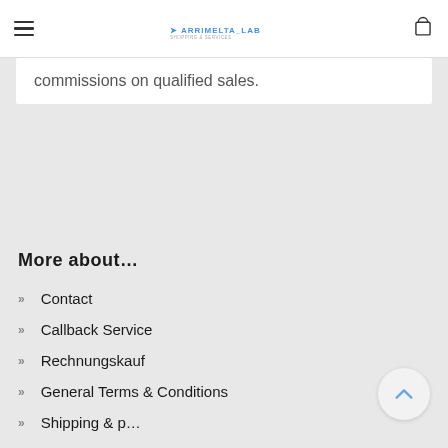ARRIMELTA_LAB
commissions on qualified sales.
More about...
Contact
Callback Service
Rechnungskauf
General Terms & Conditions
Shipping & payment conditions